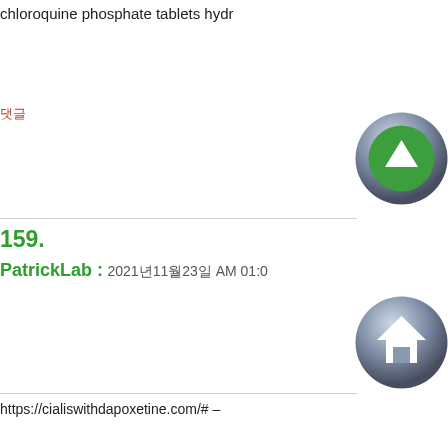chloroquine phosphate tablets hydr
댓글
[Figure (illustration): Green upward arrow icon in a dark circular button]
159.
PatrickLab : 2021년11월23일 AM 01:0
[Figure (illustration): House/home icon in a dark circular button]
https://cialiswithdapoxetine.com/# –
댓글
[Figure (illustration): Red person/user icon in a dark circular button]
160.
DnsnBiags : 2021년11월23일 PM 21:5
[Figure (illustration): Store/shop icon in a dark circular button with purple/pink tones]
tadalafil medication dapoxetine tada
댓글
[Figure (illustration): Gold star with plus sign icon in a dark circular button]